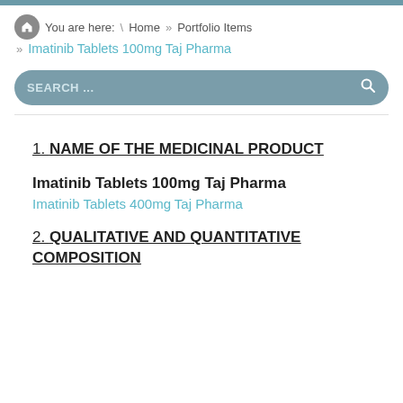You are here: \ Home » Portfolio Items » Imatinib Tablets 100mg Taj Pharma
SEARCH ...
1. NAME OF THE MEDICINAL PRODUCT
Imatinib Tablets 100mg Taj Pharma
Imatinib Tablets 400mg Taj Pharma
2. QUALITATIVE AND QUANTITATIVE COMPOSITION